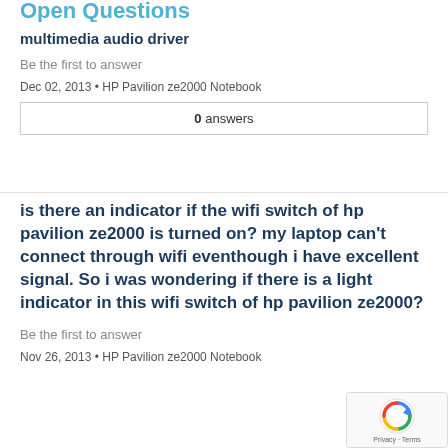Open Questions
multimedia audio driver
Be the first to answer
Dec 02, 2013 • HP Pavilion ze2000 Notebook
0 answers
is there an indicator if the wifi switch of hp pavilion ze2000 is turned on? my laptop can't connect through wifi eventhough i have excellent signal. So i was wondering if there is a light indicator in this wifi switch of hp pavilion ze2000?
Be the first to answer
Nov 26, 2013 • HP Pavilion ze2000 Notebook